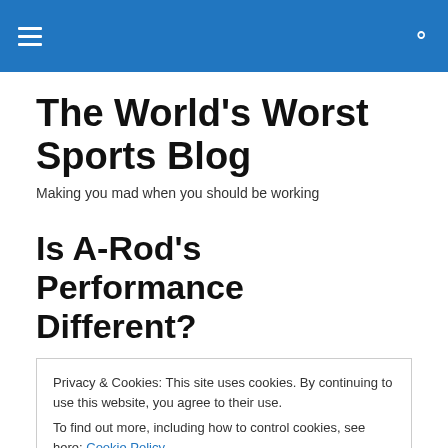The World's Worst Sports Blog
Making you mad when you should be working
Is A-Rod's Performance Different?
Privacy & Cookies: This site uses cookies. By continuing to use this website, you agree to their use.
To find out more, including how to control cookies, see here: Cookie Policy
Close and accept
milestone home runs. A-Rod, though, has some